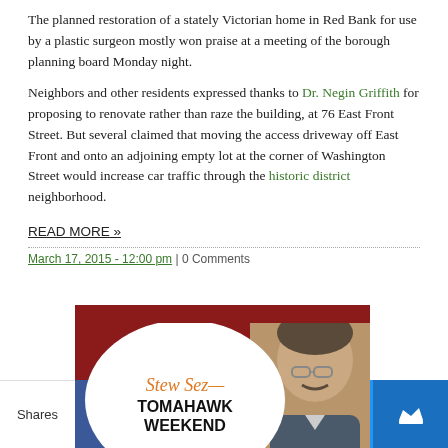The planned restoration of a stately Victorian home in Red Bank for use by a plastic surgeon mostly won praise at a meeting of the borough planning board Monday night.
Neighbors and other residents expressed thanks to Dr. Negin Griffith for proposing to renovate rather than raze the building, at 76 East Front Street. But several claimed that moving the access driveway off East Front and onto an adjoining empty lot at the corner of Washington Street would increase car traffic through the historic district neighborhood.
READ MORE »
March 17, 2015 - 12:00 pm | 0 Comments
[Figure (photo): Promotional image for 'Stew Sez - Tomahawk Weekend' showing a circular white logo with orange italic text 'Stew Sez-' and bold black text 'TOMAHAWK WEEKEND' on a dark red background, with a photo of a man with glasses on the right side.]
Shares | Facebook | Twitter | Email | SMS | Crown icon